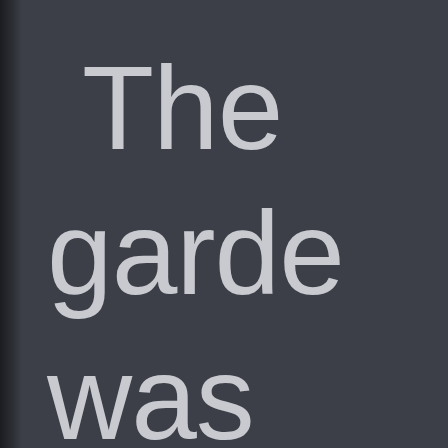[Figure (photo): Book cover or title page with dark slate-grey background and large light grey sans-serif text partially visible, reading 'The', 'garde' (truncated), 'was', and partially a fourth line. A dark book spine is visible on the left edge.]
The garde was